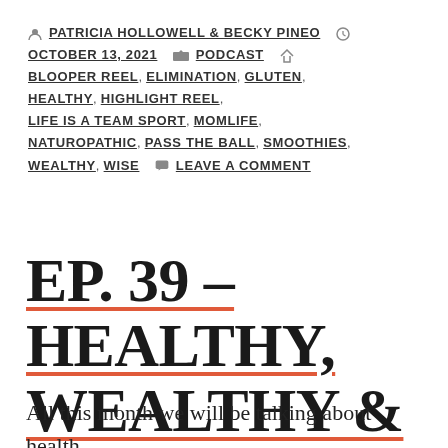PATRICIA HOLLOWELL & BECKY PINEO  OCTOBER 13, 2021  PODCAST  BLOOPER REEL, ELIMINATION, GLUTEN, HEALTHY, HIGHLIGHT REEL, LIFE IS A TEAM SPORT, MOMLIFE, NATUROPATHIC, PASS THE BALL, SMOOTHIES, WEALTHY, WISE  LEAVE A COMMENT
EP. 39 – HEALTHY, WEALTHY & WISE
All this month we will be talking about health as well as how God has blessed us and the